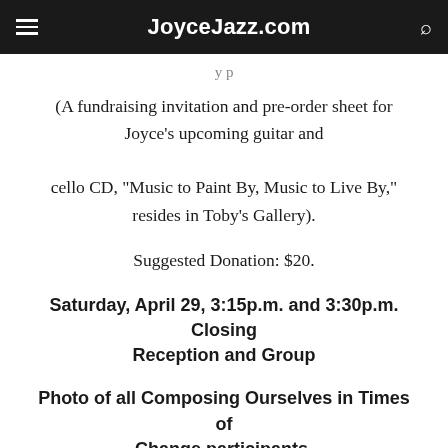JoyceJazz.com
(A fundraising invitation and pre-order sheet for Joyce's upcoming guitar and cello CD, "Music to Paint By, Music to Live By," resides in Toby's Gallery).
Suggested Donation: $20.
Saturday, April 29, 3:15p.m. and 3:30p.m. Closing Reception and Group
Photo of all Composing Ourselves in Times of Change participants.
Toby's Gallery.